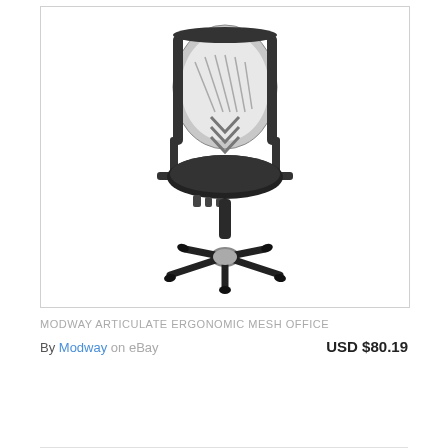[Figure (photo): Black ergonomic mesh office chair with adjustable armrests, mesh back with decorative cutouts, padded seat, height adjustment mechanism, and five-star base with casters on a white background]
MODWAY ARTICULATE ERGONOMIC MESH OFFICE
By Modway on eBay    USD $80.19